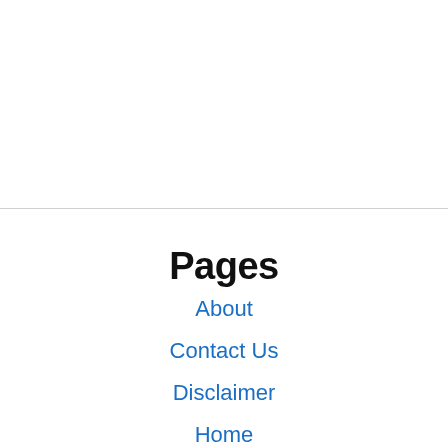Pages
About
Contact Us
Disclaimer
Home
Home